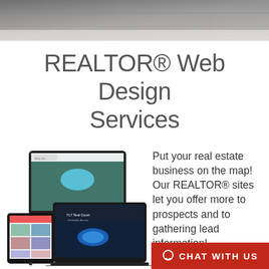[Figure (photo): Aerial/outdoor photo used as hero banner at top of page, showing stone/paved surface]
REALTOR® Web Design Services
[Figure (screenshot): Device mockup showing laptop, tablet, and a second laptop displaying real estate website screenshots with property aerial views and listing pages]
Put your real estate business on the map! Our REALTOR® sites let you offer more to prospects and to gathering lead information!
CHAT WITH US